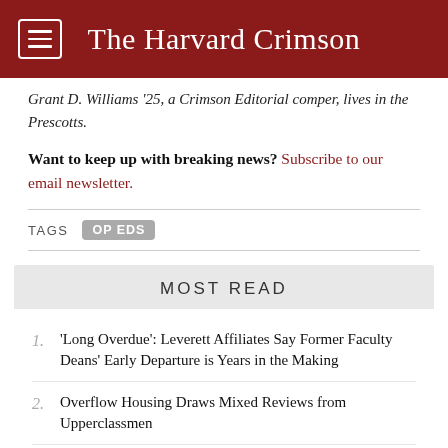The Harvard Crimson
Grant D. Williams '25, a Crimson Editorial comper, lives in the Prescotts.
Want to keep up with breaking news? Subscribe to our email newsletter.
TAGS  OP EDS
MOST READ
'Long Overdue': Leverett Affiliates Say Former Faculty Deans' Early Departure is Years in the Making
Overflow Housing Draws Mixed Reviews from Upperclassmen
(partially visible third item)